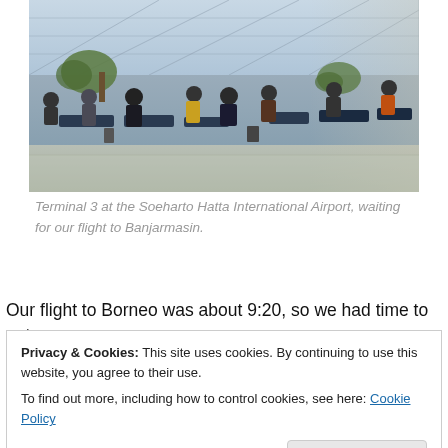[Figure (photo): Airport terminal interior showing passengers seated in waiting area with large glass ceiling windows, palm trees visible, and a wide terminal hall. Terminal 3 at Soeharto Hatta International Airport.]
Terminal 3 at the Soeharto Hatta International Airport, waiting for our flight to Banjarmasin.
Our flight to Borneo was about 9:20, so we had time to eat
Privacy & Cookies: This site uses cookies. By continuing to use this website, you agree to their use.
To find out more, including how to control cookies, see here: Cookie Policy
(wir in Poakarta that we had visited on Tuesday).